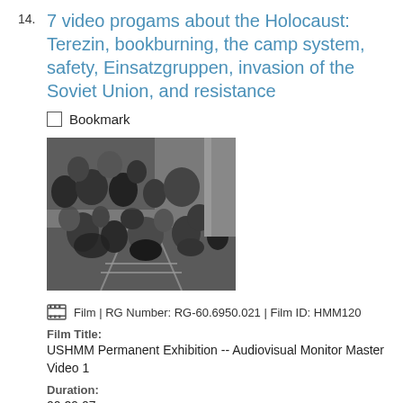14. 7 video progams about the Holocaust: Terezin, bookburning, the camp system, safety, Einsatzgruppen, invasion of the Soviet Union, and resistance
Bookmark
[Figure (photo): Black and white photograph showing people crouching or bending near railroad tracks in a crowd, carrying belongings]
Film | RG Number: RG-60.6950.021 | Film ID: HMM120
Film Title:
USHMM Permanent Exhibition -- Audiovisual Monitor Master Video 1
Duration:
00:29:07
Special Collection:
Steven Spielberg Film and Video Archive